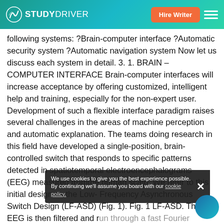STUDYDRIVER | Hire Writer
following systems: ?Brain-computer interface ?Automatic security system ?Automatic navigation system Now let us discuss each system in detail. 3. 1. BRAIN – COMPUTER INTERFACE Brain-computer interfaces will increase acceptance by offering customized, intelligent help and training, especially for the non-expert user. Development of such a flexible interface paradigm raises several challenges in the areas of machine perception and automatic explanation. The teams doing research in this field have developed a single-position, brain-controlled switch that responds to specific patterns detected in spatiotemporal electroencephalograms (EEG) measured fromthe human scalp. We refer to this initial design as the Low- Frequency Asynchronous Switch Design (LF-ASD) (Fig. 1). Fig. 1 LF-ASD. The EEG is then filtered and run through a fast Fourier transform before being displayed as a three dimensional graphic. The data can then be
We use cookies to give you the best experience possible. By continuing we'll assume you board with our cookie policy.